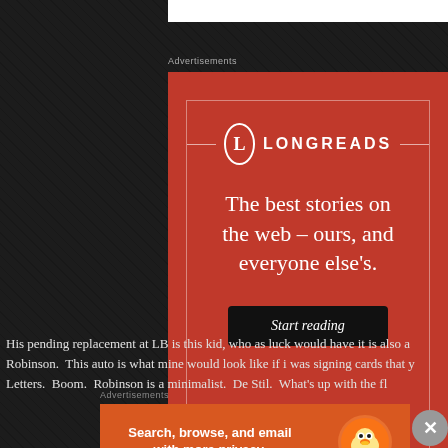Advertisements
[Figure (screenshot): Longreads advertisement on red background with logo, tagline 'The best stories on the web – ours, and everyone else's.' and 'Start reading' button]
His pending replacement at LB is this kid, who as luck would have it is also a Robinson.  This auto is what mine would look like if i was signing cards that y Letters.  Boom.  Robinson is a minimalist.  De Stil.  What's up with the fl
Advertisements
[Figure (screenshot): DuckDuckGo advertisement: 'Search, browse, and email with more privacy. All in One Free App' with DuckDuckGo logo]